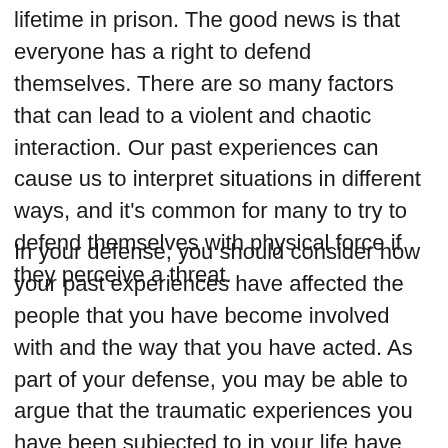lifetime in prison. The good news is that everyone has a right to defend themselves. There are so many factors that can lead to a violent and chaotic interaction. Our past experiences can cause us to interpret situations in different ways, and it's common for many to try to defend themselves with physical force if they perceive a threat.
In your defense, you should consider how your past experiences have affected the people that you have become involved with and the way that you have acted. As part of your defense, you may be able to argue that the traumatic experiences you have been subjected to in your life have caused you to become involved with the wrong crowd and to be physically defensively when threatened.